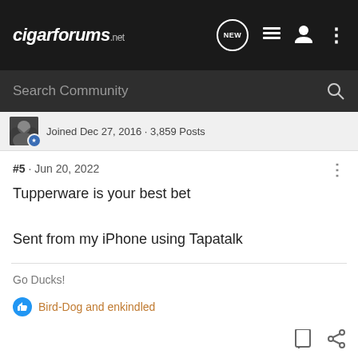cigarforums.net
Joined Dec 27, 2016 · 3,859 Posts
#5 · Jun 20, 2022
Tupperware is your best bet
Sent from my iPhone using Tapatalk
Go Ducks!
Bird-Dog and enkindled